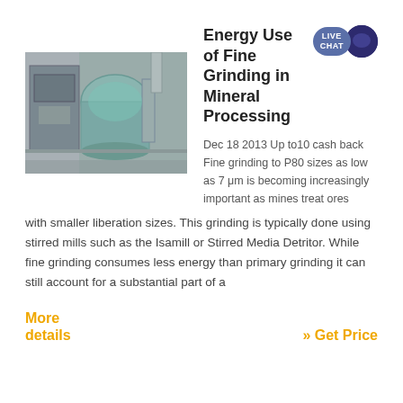[Figure (photo): Industrial mineral grinding machinery, showing mill equipment with metal structures and conveyor components]
Energy Use of Fine Grinding in Mineral Processing
Dec 18 2013  Up to10 cash back  Fine grinding to P80 sizes as low as 7 μm is becoming increasingly important as mines treat ores with smaller liberation sizes. This grinding is typically done using stirred mills such as the Isamill or Stirred Media Detritor. While fine grinding consumes less energy than primary grinding it can still account for a substantial part of a
More details
» Get Price